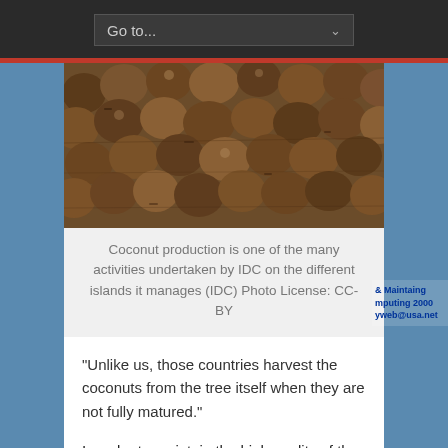Go to...
[Figure (photo): A large pile of coconuts with fibrous husks, photographed from above.]
Coconut production is one of the many activities undertaken by IDC on the different islands it manages (IDC) Photo License: CC-BY
“Unlike us, those countries harvest the coconuts from the tree itself when they are not fully matured.”
In order to maintain the high quality of the Seychelles coconut oil and sustain this industry, Renaud explained that they are constantly planting new coconut trees to replace the ageing plantation at the same time exploring other islands where coconuts can be picked...